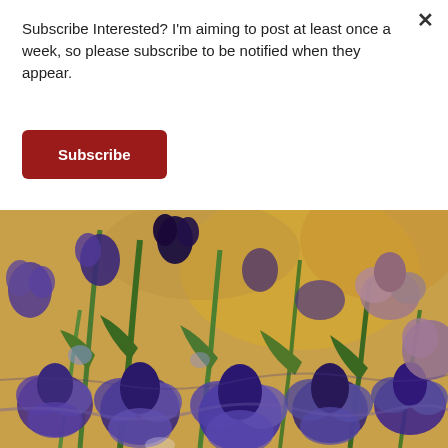Subscribe Interested? I'm aiming to post at least once a week, so please subscribe to be notified when they appear.
×
Subscribe
[Figure (illustration): Impressionist-style painting of purple and blue iris flowers with green stems against a warm golden-yellow background, rendered in thick expressive brushstrokes.]